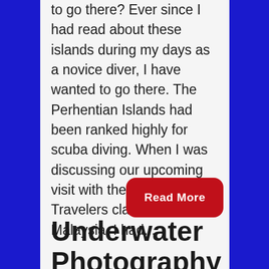to go there? Ever since I had read about these islands during my days as a novice diver, I have wanted to go there. The Perhentian Islands had been ranked highly for scuba diving. When I was discussing our upcoming visit with the Bohemian Travelers clan in Penang, Malaysia, I had...
Read More
Underwater Photography Woes